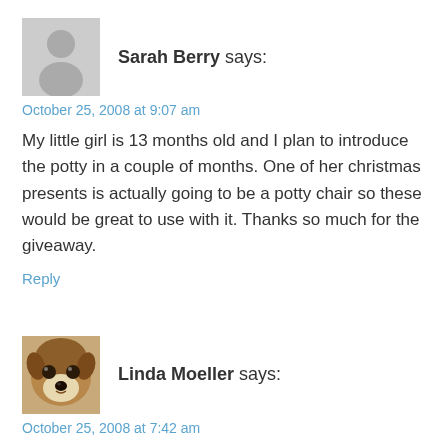[Figure (illustration): Generic grey silhouette avatar icon for Sarah Berry]
Sarah Berry says:
October 25, 2008 at 9:07 am
My little girl is 13 months old and I plan to introduce the potty in a couple of months. One of her christmas presents is actually going to be a potty chair so these would be great to use with it. Thanks so much for the giveaway.
Reply
[Figure (photo): Photo of a small dog (chihuahua) used as Linda Moeller's avatar]
Linda Moeller says:
October 25, 2008 at 7:42 am